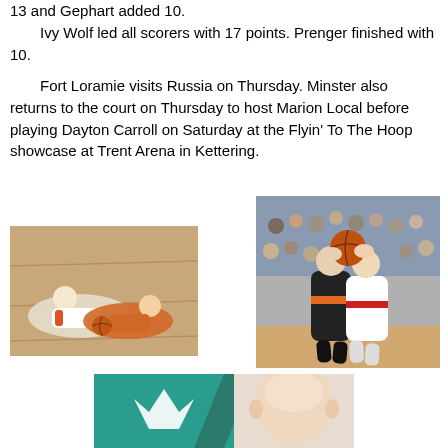13 and Gephart added 10.
Ivy Wolf led all scorers with 17 points. Prenger finished with 10.
Fort Loramie visits Russia on Thursday. Minster also returns to the court on Thursday to host Marion Local before playing Dayton Carroll on Saturday at the Flyin' To The Hoop showcase at Trent Arena in Kettering.
[Figure (photo): Two female basketball players scrambling on the floor for a loose ball during a game, wearing white and orange uniforms on a hardwood court.]
[Figure (photo): Two female basketball players fighting for possession of a basketball, one in black and one in white/red uniform, with a crowd visible in the background.]
[Figure (photo): Partial view showing a teal/green background with a white logo on the left and a person's face (bald man) on the right.]